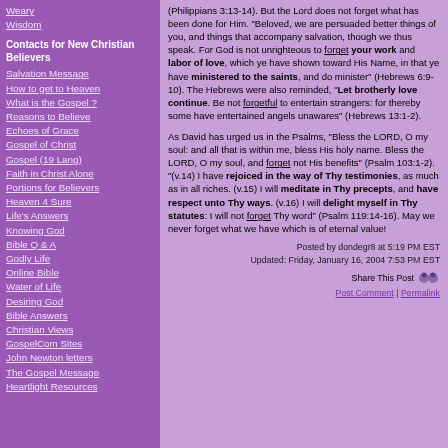Weary
Wisdom
Contacts for New Christian Believers
Salvation Message
How to get to Heaven
What is the Gospel ?
Reasons to Believe
Echoes of Grace
Gospel of Christ
Gospel (19 Lang)
Faith in Christ Alone
Portions for Believers
Heaven 4 Sure
Life's Answers
Knowing God
Bible Q & A
Godly Life
Online Bible
Water of Life
Desiring God
Bible Answers
Christian Views
GospelCom Sites
John Newton letters
The Gospel Message
Heartlight Resources
(Philippians 3:13-14). But the Lord does not forget what has been done for Him. "Beloved, we are persuaded better things of you, and things that accompany salvation, though we thus speak. For God is not unrighteous to forget your work and labor of love, which ye have shown toward His Name, in that ye have ministered to the saints, and do minister" (Hebrews 6:9-10). The Hebrews were also reminded, "Let brotherly love continue. Be not forgetful to entertain strangers: for thereby some have entertained angels unawares" (Hebrews 13:1-2).
As David has urged us in the Psalms, "Bless the LORD, O my soul: and all that is within me, bless His holy name. Bless the LORD, O my soul, and forget not His benefits" (Psalm 103:1-2). "(v.14) I have rejoiced in the way of Thy testimonies, as much as in all riches. (v.15) I will meditate in Thy precepts, and have respect unto Thy ways. (v.16) I will delight myself in Thy statutes: I will not forget Thy word" (Psalm 119:14-16). May we never forget what we have which is of eternal value!
Posted by dondegr8 at 5:19 PM EST
Updated: Friday, January 16, 2004 7:53 PM EST
Share This Post
Post Comment | Permalink